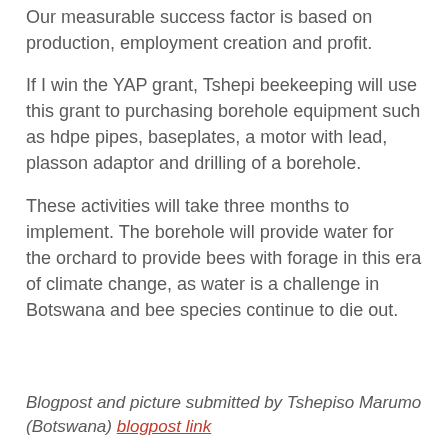Our measurable success factor is based on production, employment creation and profit.
If I win the YAP grant, Tshepi beekeeping will use this grant to purchasing borehole equipment such as hdpe pipes, baseplates, a motor with lead, plasson adaptor and drilling of a borehole.
These activities will take three months to implement. The borehole will provide water for the orchard to provide bees with forage in this era of climate change, as water is a challenge in Botswana and bee species continue to die out.
Blogpost and picture submitted by Tshepiso Marumo (Botswana) <blogpost link> [+1] <br>